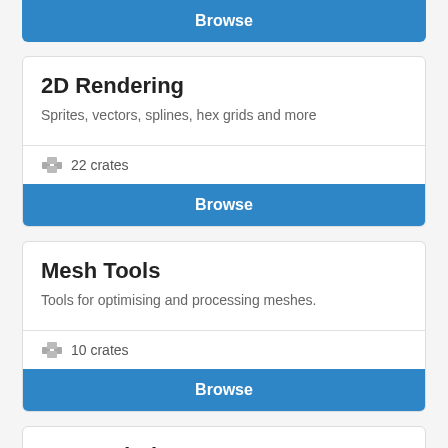Browse
2D Rendering
Sprites, vectors, splines, hex grids and more
22 crates
Browse
Mesh Tools
Tools for optimising and processing meshes.
10 crates
Browse
3D Rendering
Graphics APIs, wrappers for and backends to Vulkan and OpenGL and more